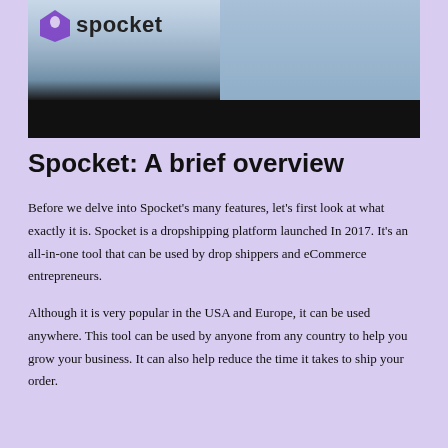[Figure (photo): Banner image showing the Spocket logo (purple shield with 'spocket' text) in the upper left, and a person in a light blue shirt with hands clasped sitting at a table. The lower portion of the image has a black bar.]
Spocket: A brief overview
Before we delve into Spocket's many features, let's first look at what exactly it is. Spocket is a dropshipping platform launched In 2017. It's an all-in-one tool that can be used by drop shippers and eCommerce entrepreneurs.
Although it is very popular in the USA and Europe, it can be used anywhere. This tool can be used by anyone from any country to help you grow your business. It can also help reduce the time it takes to ship your order.